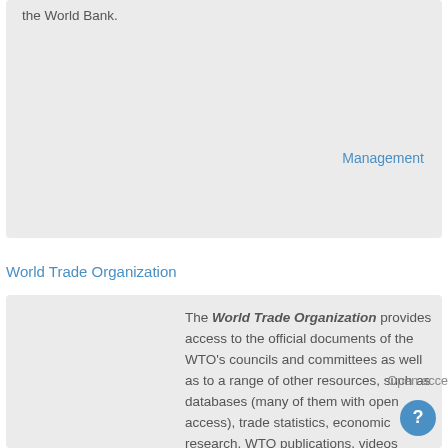the World Bank.
Management
World Trade Organization
The World Trade Organization provides access to the official documents of the WTO's councils and committees as well as to a range of other resources, such as databases (many of them with open access), trade statistics, economic research, WTO publications, videos
Open access
[Figure (logo): World Trade Organization logo with stylized wave/globe icon in red, blue and green colors, and text 'World Trade Organization']